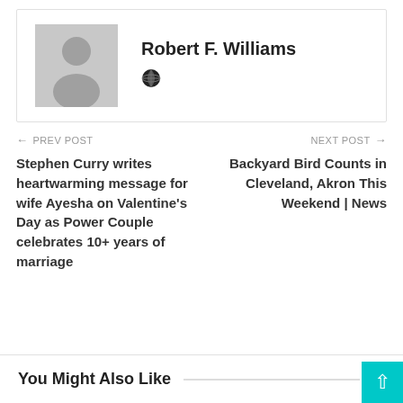[Figure (other): Author card with gray placeholder avatar and author name Robert F. Williams with a globe icon]
Robert F. Williams
← PREV POST
Stephen Curry writes heartwarming message for wife Ayesha on Valentine's Day as Power Couple celebrates 10+ years of marriage
NEXT POST →
Backyard Bird Counts in Cleveland, Akron This Weekend | News
You Might Also Like   All